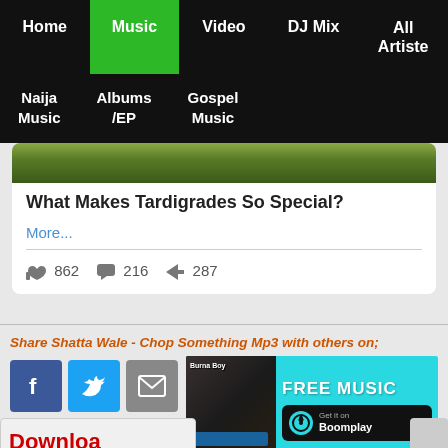Home | Music | Video | DJ Mix | All Artiste | Naija Music | Albums /EP | Gospel Music
[Figure (photo): Green foliage/plant background image cropped at top]
What Makes Tardigrades So Special?
More...
862  216  287
Share Shatta Wale - Chop Something Mp3 with others on;
[Figure (screenshot): Social share buttons: Facebook, Twitter, Email; Boomplay FREE MUSIC advertisement banner with Burna Boy image]
Download